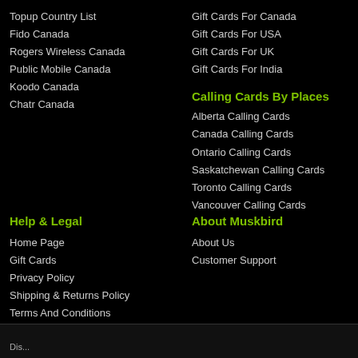Topup Country List
Fido Canada
Rogers Wireless Canada
Public Mobile Canada
Koodo Canada
Chatr Canada
Gift Cards For Canada
Gift Cards For USA
Gift Cards For UK
Gift Cards For India
Calling Cards By Places
Alberta Calling Cards
Canada Calling Cards
Ontario Calling Cards
Saskatchewan Calling Cards
Toronto Calling Cards
Vancouver Calling Cards
Help & Legal
Home Page
Gift Cards
Privacy Policy
Shipping & Returns Policy
Terms And Conditions
About Muskbird
About Us
Customer Support